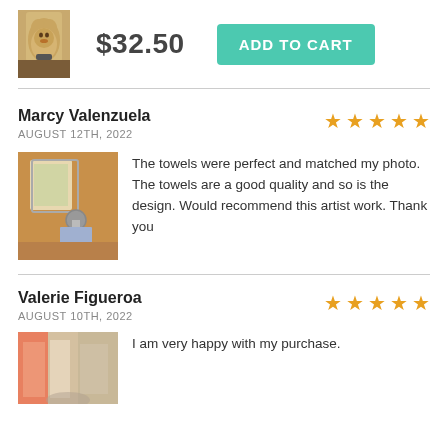[Figure (photo): Small product thumbnail photo of a golden dog wearing a harness]
$32.50
ADD TO CART
Marcy Valenzuela
AUGUST 12TH, 2022
[Figure (photo): Photo of a towel hanging on a ring in a bathroom with warm beige walls and a framed picture]
The towels were perfect and matched my photo. The towels are a good quality and so is the design. Would recommend this artist work. Thank you
Valerie Figueroa
AUGUST 10TH, 2022
[Figure (photo): Photo of colorful towels hanging]
I am very happy with my purchase.